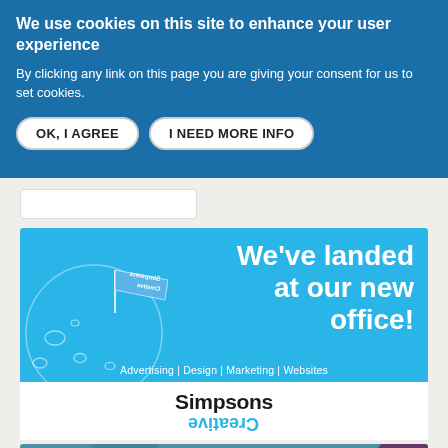We use cookies on this site to enhance your user experience
By clicking any link on this page you are giving your consent for us to set cookies.
OK, I AGREE | I NEED MORE INFO
[Figure (illustration): Simpsons Creative advertising banner: blue background with 'We've landed at our new office!' text, rocket/planet illustration, upside-down Simpsons Creative logo, tagline 'Advertising | Design | Marketing | Websites']
[Figure (illustration): Partial teal banner with geometric circle shapes at bottom of page]